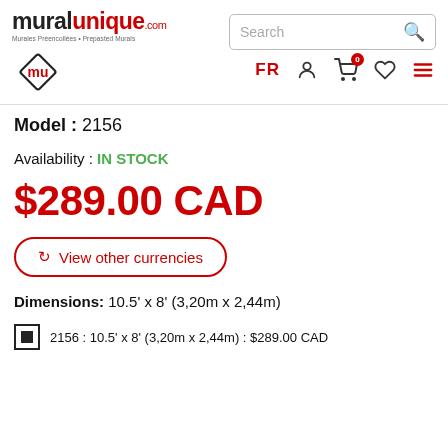[Figure (logo): Muralunique.com logo with red 'mu' icon in a diamond and text 'muralunique.com - Murales Préencollées • Prepasted Murals']
Model : 2156
Availability : IN STOCK
$289.00 CAD
↻ View other currencies
Dimensions: 10.5' x 8' (3,20m x 2,44m)
2156 : 10.5' x 8' (3,20m x 2,44m) : $289.00 CAD